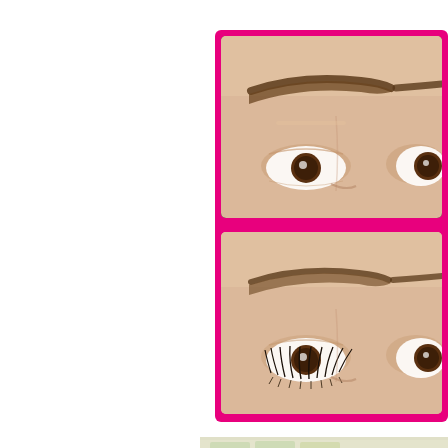[Figure (photo): Two before/after photos of a woman's eyes and eyebrows shown in a pink-bordered frame. Top photo shows eyebrows without mascara/lashes, bottom photo shows the same eyebrows with full curled eyelashes. Both images are cropped close-up shots showing the eye area.]
[Figure (photo): Partial view of beauty/cosmetic product tubes laid out on a light surface, partially cut off at the bottom of the page.]